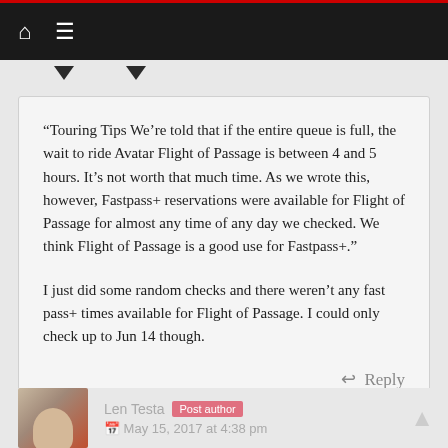Navigation bar with home and menu icons
“Touring Tips We’re told that if the entire queue is full, the wait to ride Avatar Flight of Passage is between 4 and 5 hours. It’s not worth that much time. As we wrote this, however, Fastpass+ reservations were available for Flight of Passage for almost any time of any day we checked. We think Flight of Passage is a good use for Fastpass+.”
I just did some random checks and there weren’t any fast pass+ times available for Flight of Passage. I could only check up to Jun 14 though.
Reply
Len Testa Post author
May 15, 2017 at 4:38 pm